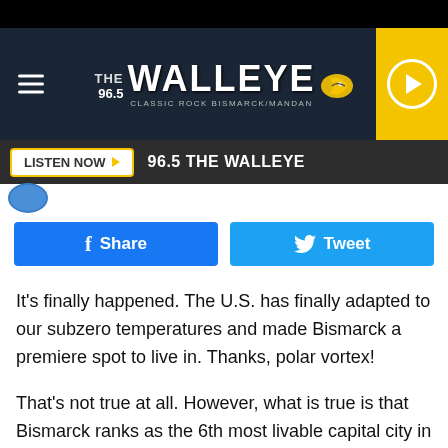[Figure (screenshot): 96.5 The Walleye radio station website header banner with logo, hamburger menu, and play button]
LISTEN NOW ▶   96.5 THE WALLEYE
[Figure (other): Share and Tweet social media buttons]
It's finally happened. The U.S. has finally adapted to our subzero temperatures and made Bismarck a premiere spot to live in. Thanks, polar vortex!
That's not true at all. However, what is true is that Bismarck ranks as the 6th most livable capital city in the U.S. The wizards at WalletHub have once again done the research and found that across 54 different metrics, Bismarck ranked in the top 10 in several categories.